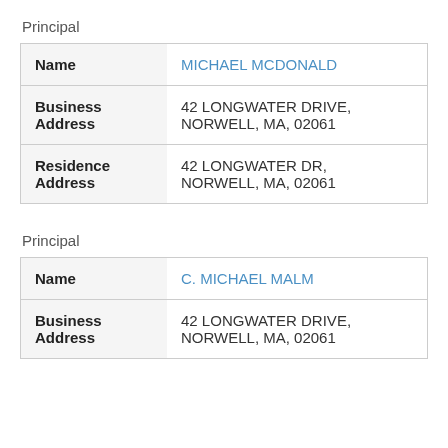Principal
| Field | Value |
| --- | --- |
| Name | MICHAEL MCDONALD |
| Business Address | 42 LONGWATER DRIVE, NORWELL, MA, 02061 |
| Residence Address | 42 LONGWATER DR, NORWELL, MA, 02061 |
Principal
| Field | Value |
| --- | --- |
| Name | C. MICHAEL MALM |
| Business Address | 42 LONGWATER DRIVE, NORWELL, MA, 02061 |